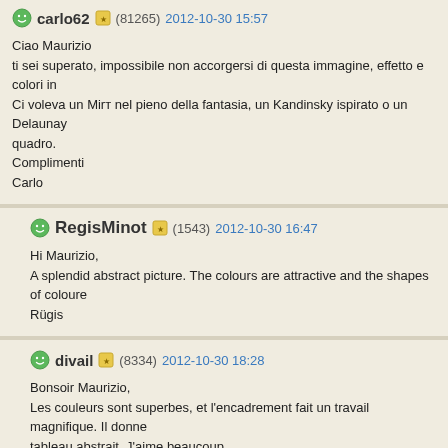carlo62 (81265) 2012-10-30 15:57
Ciao Maurizio
ti sei superato, impossibile non accorgersi di questa immagine, effetto e colori in
Ci voleva un Mirт nel pieno della fantasia, un Kandinsky ispirato o un Delaunay
quadro.
Complimenti
Carlo
RegisMinot (1543) 2012-10-30 16:47
Hi Maurizio,
A splendid abstract picture. The colours are attractive and the shapes of coloure
Rügis
divail (8334) 2012-10-30 18:28
Bonsoir Maurizio,
Les couleurs sont superbes, et l'encadrement fait un travail magnifique. Il donne
tableau abstrait. J'aime beaucoup.

Diane
Sonata11 (34119) 2012-10-30 20:08